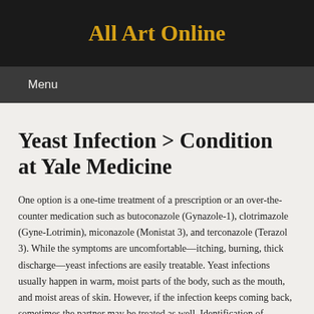All Art Online
Menu
Yeast Infection > Condition at Yale Medicine
One option is a one-time treatment of a prescription or an over-the-counter medication such as butoconazole (Gynazole-1), clotrimazole (Gyne-Lotrimin), miconazole (Monistat 3), and terconazole (Terazol 3). While the symptoms are uncomfortable—itching, burning, thick discharge—yeast infections are easily treatable. Yeast infections usually happen in warm, moist parts of the body, such as the mouth, and moist areas of skin. However, if the infection keeps coming back, sometimes the partner may be treated as well. Identification of candida